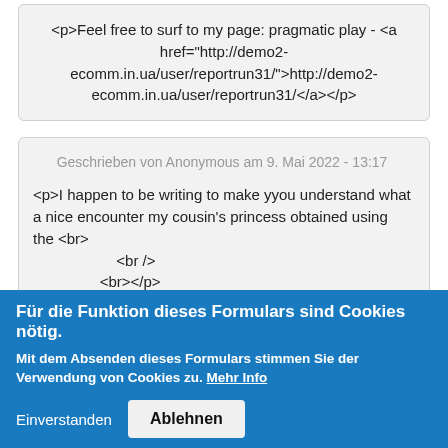<p>Feel free to surf to my page: pragmatic play - <a href="http://demo2-ecomm.in.ua/user/reportrun31/">http://demo2-ecomm.in.ua/user/reportrun31/</a></p>
Geschrieben von Anonymous am 9. Mai 2022 - 13:17
<p>I happen to be writing to make yyou understand what a nice encounter my cousin's princess obtained using the <br> <br /> <br></p> <p>blog. She came to understand too many things, with the inclusion of what it's like to have an ideal helping mindset to get the rest with ease understand selected complex issues.
Für die Funktion dieses Formulars sind Cookies nötig.
Mit dem Absenden dieses Formulars stimmen Sie der Verwendung von Cookies zu. Mehr Info
Einverstanden  Ablehnen